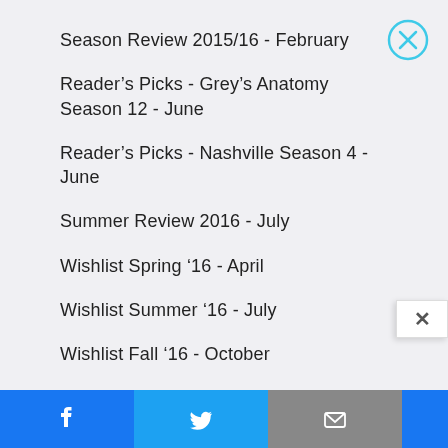Season Review 2015/16 - February
Reader's Picks - Grey's Anatomy Season 12 - June
Reader's Picks - Nashville Season 4 - June
Summer Review 2016 - July
Wishlist Spring '16 - April
Wishlist Summer '16 - July
Wishlist Fall '16 - October
Ranking the New Shows of 2016 - December
NEXT ARTICLE >